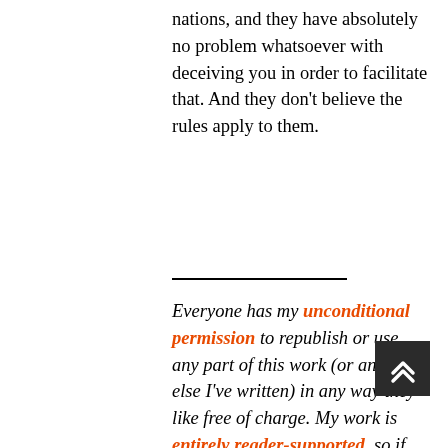nations, and they have absolutely no problem whatsoever with deceiving you in order to facilitate that. And they don't believe the rules apply to them.
Everyone has my unconditional permission to republish or use any part of this work (or anything else I've written) in any way they like free of charge. My work is entirely reader-supported, so if you enjoyed this piece please consider sharing it around, liking me on Facebook, following my antics on Twitter, throwing some money into my hat on Patreon or Paypal, purchasing some of my sweet merchandise, buying my new